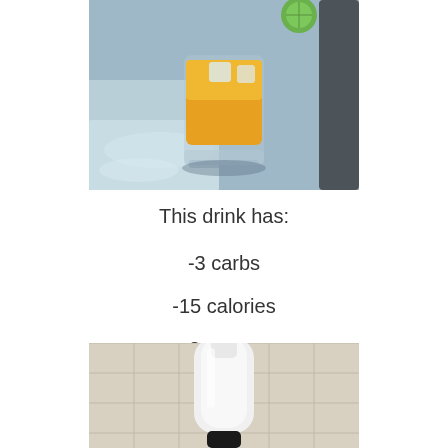[Figure (photo): A glass of orange/yellow drink with ice and a lime slice on a reflective metal surface outdoors]
This drink has:
-3 carbs
-15 calories
-2 sugars
[Figure (photo): A white bottle/container on a tile background, partially cropped at bottom of page]